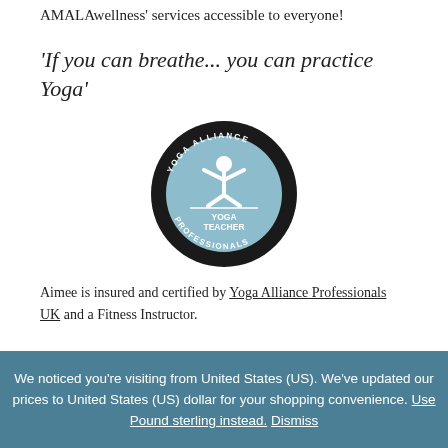AMALAwellness' services accessible to everyone!
'If you can breathe... you can practice Yoga'
[Figure (logo): Yoga Alliance Professionals UK - Yoga Teacher certification badge. Black circular badge with light blue inner circle, stylized Y figure, text YOGA ALLIANCE PROFESSIONALS around edge and YOGA TEACHER in center.]
Aimee is insured and certified by Yoga Alliance Professionals UK and a Fitness Instructor.
We noticed you're visiting from United States (US). We've updated our prices to United States (US) dollar for your shopping convenience. Use Pound sterling instead. Dismiss